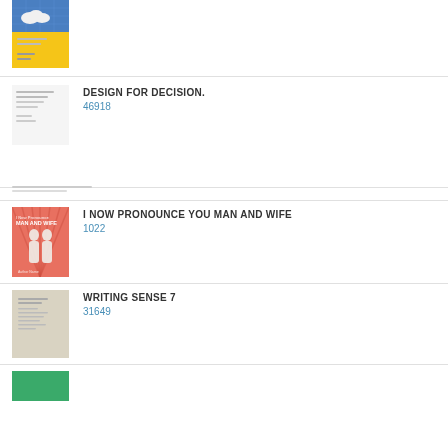[Figure (illustration): Partial book cover visible at top of page, yellow/blue background with cloud design]
[Figure (illustration): Small thumbnail of Design for Decision book cover with text lines]
DESIGN FOR DECISION.
46918
[Figure (illustration): I Now Pronounce You Man and Wife book cover, reddish/pink with two silhouette figures]
I NOW PRONOUNCE YOU MAN AND WIFE
1022
[Figure (illustration): Writing Sense 7 book cover, beige/tan with text lines]
WRITING SENSE 7
31649
[Figure (illustration): Partial green book cover visible at bottom of page]